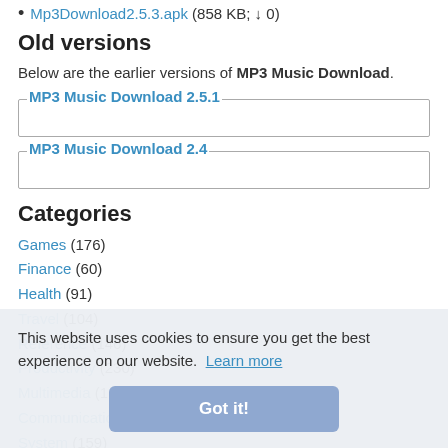Mp3Download2.5.3.apk (858 KB; ↓ 0)
Old versions
Below are the earlier versions of MP3 Music Download.
MP3 Music Download 2.5.1
MP3 Music Download 2.4
Categories
Games (176)
Finance (60)
Health (91)
Travel (104)
Reference (146)
Productivity (230)
Multimedia (116)
Communications (215)
System (159)
Entertainment (256)
Shopping (61)
Sports (58)
News (36)
Internet (1)
Follow on
This website uses cookies to ensure you get the best experience on our website. Learn more
Got it!